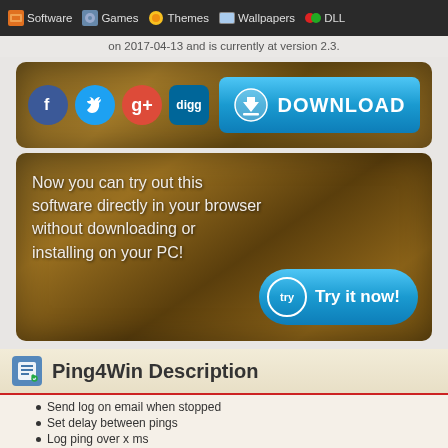Software  Games  Themes  Wallpapers  DLL
on 2017-04-13 and is currently at version 2.3.
[Figure (infographic): Download panel with social share icons (Facebook, Twitter, Google+, Digg) and a blue DOWNLOAD button on a wood-texture background]
[Figure (infographic): Try it now panel with text 'Now you can try out this software directly in your browser without downloading or installing on your PC!' and a blue 'Try it now!' button on a wood-texture background]
Ping4Win Description
Send log on email when stopped
Set delay between pings
Log ping over x ms
Takes command-line arguments
Remember 10 last ip/domains